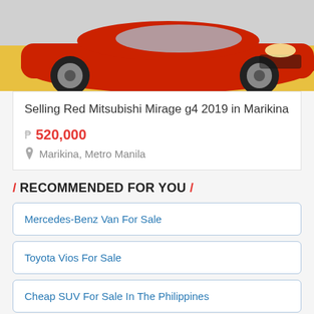[Figure (photo): Red Mitsubishi Mirage G4 2019 car photo, front-side view on yellow background]
Selling Red Mitsubishi Mirage g4 2019 in Marikina
₱ 520,000
Marikina, Metro Manila
/ RECOMMENDED FOR YOU /
Mercedes-Benz Van For Sale
Toyota Vios For Sale
Cheap SUV For Sale In The Philippines
Hyundai H350 Second Hand Price